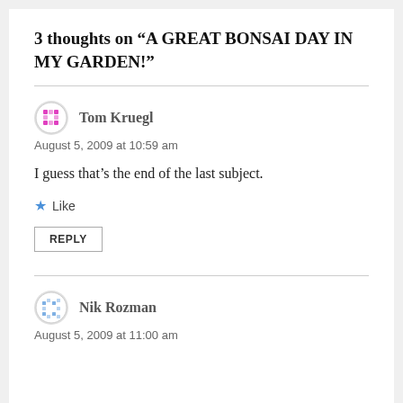3 thoughts on “A GREAT BONSAI DAY IN MY GARDEN!”
Tom Kruegl
August 5, 2009 at 10:59 am
I guess that’s the end of the last subject.
Like
REPLY
Nik Rozman
August 5, 2009 at 11:00 am